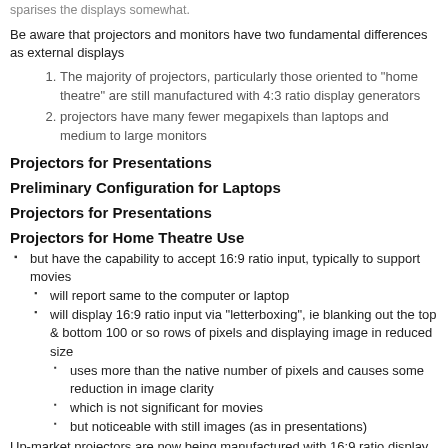sparises the displays somewhat.
Be aware that projectors and monitors have two fundamental differences as external displays
The majority of projectors, particularly those oriented to "home theatre" are still manufactured with 4:3 ratio display generators
projectors have many fewer megapixels than laptops and medium to large monitors
Projectors for Presentations
Preliminary Configuration for Laptops
Projectors for Presentations
Projectors for Home Theatre Use
but have the capability to accept 16:9 ratio input, typically to support movies
will report same to the computer or laptop
will display 16:9 ratio input via "letterboxing", ie blanking out the top & bottom 100 or so rows of pixels and displaying image in reduced size
uses more than the native number of pixels and causes some reduction in image clarity
which is not significant for movies
but noticeable with still images (as in presentations)
Up-market projectors are now being manufactured with 16:9 ratio display generators